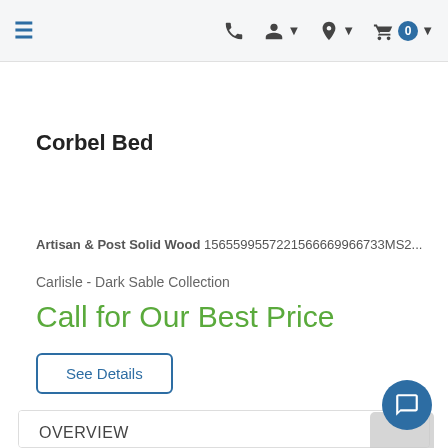Navigation bar with hamburger menu, phone, account, location, and cart icons
Corbel Bed
Artisan & Post Solid Wood 1565599557221566669966733MS2...
Carlisle - Dark Sable Collection
Call for Our Best Price
See Details
OVERVIEW
VIDEOS